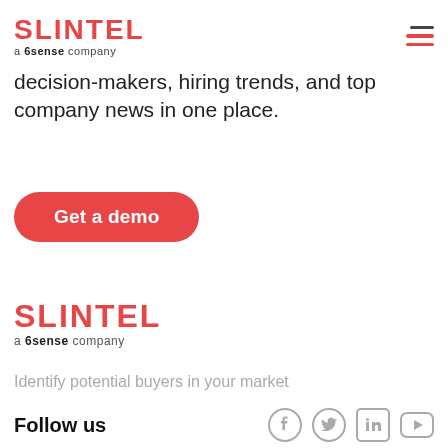SLINTEL a 6sense company
decision-makers, hiring trends, and top company news in one place.
Get a demo
[Figure (logo): SLINTEL a 6sense company logo (footer)]
Identify potential buyers in your market
Follow us